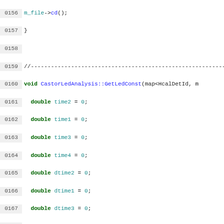[Figure (screenshot): Source code listing in C++ showing lines 156-185 of a CastorLedAnalysis file with syntax highlighting. Keywords in green/bold, variables in teal, strings in red, line numbers in grey on grey background.]